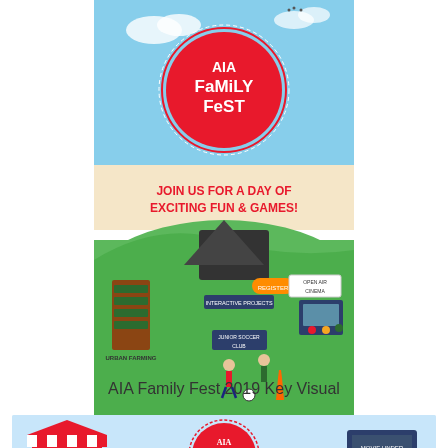[Figure (illustration): AIA Family Fest 2019 event poster. Red circular logo with 'AIA Family Fest' text at top on a blue sky background. Text 'JOIN US FOR A DAY OF EXCITING FUN & GAMES!' in red bold letters. Illustrated green field with activity zones: Urban Farming, Interactive Projects, Open Air Cinema, Junior Soccer Club with cartoon children playing.]
AIA Family Fest 2019 Key Visual
[Figure (illustration): Partial AIA Family Fest promotional banner with light blue background. Shows AIA Family Fest circular logo, food stall illustration on left, movie screen on right, and text 'A CENTURY' partially visible at bottom.]